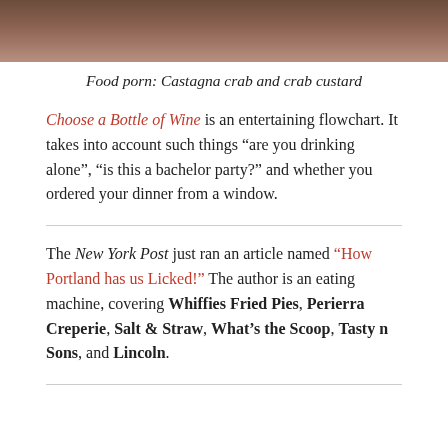[Figure (photo): Close-up photo of food (Castagna crab and crab custard), showing brown/tan tones at the top of the page]
Food porn: Castagna crab and crab custard
Choose a Bottle of Wine is an entertaining flowchart. It takes into account such things “are you drinking alone”, “is this a bachelor party?” and whether you ordered your dinner from a window.
The New York Post just ran an article named “How Portland has us Licked!” The author is an eating machine, covering Whiffies Fried Pies, Perierra Creperie, Salt & Straw, What’s the Scoop, Tasty n Sons, and Lincoln.